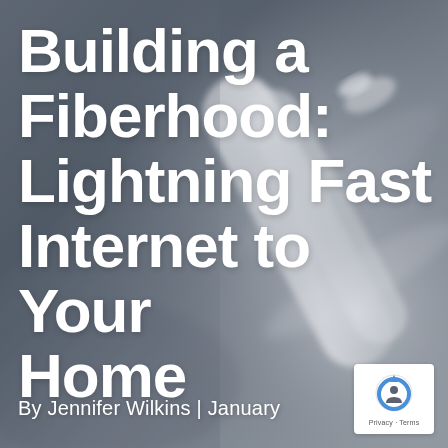[Figure (photo): Blurred close-up photograph of white fiber optic cables/connectors plugged into network equipment, serving as the background image for the page cover.]
Building a Fiberhood: Lightning Fast Internet to Your Home
By Jennifer Wilkins | January
[Figure (logo): Google reCAPTCHA logo badge with 'Privacy - Terms' text label, shown in a white rounded box in the bottom-right corner.]